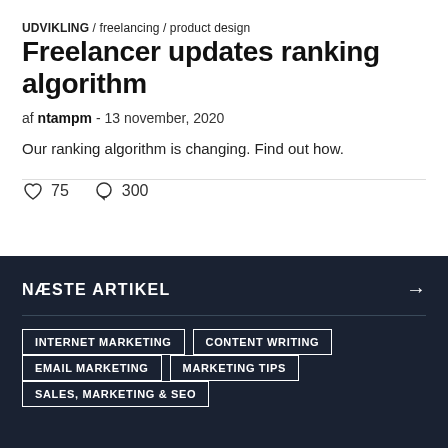UDVIKLING / freelancing / product design
Freelancer updates ranking algorithm
af ntampm - 13 november, 2020
Our ranking algorithm is changing. Find out how.
75   300
NÆSTE ARTIKEL →
INTERNET MARKETING
CONTENT WRITING
EMAIL MARKETING
MARKETING TIPS
SALES, MARKETING & SEO